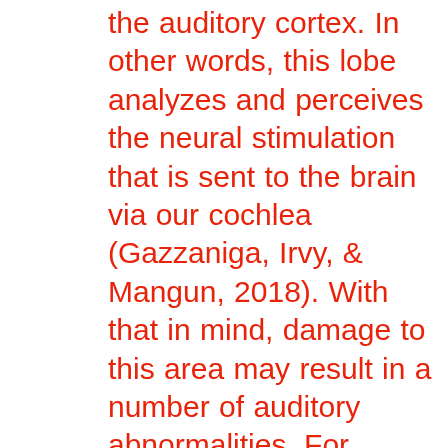the auditory cortex. In other words, this lobe analyzes and perceives the neural stimulation that is sent to the brain via our cochlea (Gazzaniga, Irvy, & Mangun, 2018). With that in mind, damage to this area may result in a number of auditory abnormalities. For example, research indicates that lesions to this area may result in the inability to identify specific sounds heard in our environment. Additionally, lesions in this area may also result in auditory hallucinations, or disturbances involving sounds that are not actually being perceived (Fourie, Van Der Merwe, & Swart, 2016). Interestingly,